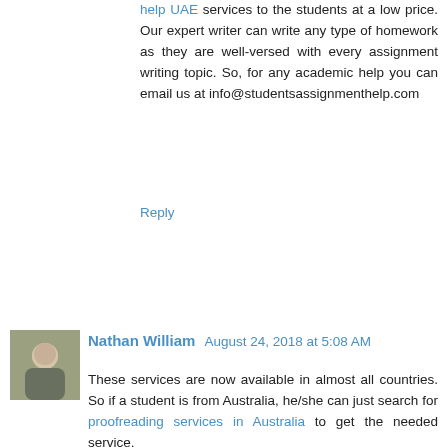help UAE services to the students at a low price. Our expert writer can write any type of homework as they are well-versed with every assignment writing topic. So, for any academic help you can email us at info@studentsassignmenthelp.com
Reply
Nathan William  August 24, 2018 at 5:08 AM
These services are now available in almost all countries. So if a student is from Australia, he/she can just search for proofreading services in Australia to get the needed service.
These service providers are even giving custom writing service to the students so that they get everything under one roof.
Taking study help is necessary to secure high academic performance in today's highly competitive world. The syllabus and the standard of evaluation in every university have become so robust that it is no longer possible to get the highest grades without taking some assistance. Now, these materials provide the students with a lot of benefits